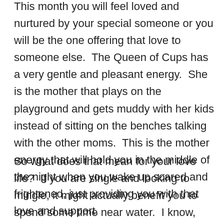This month you will feel loved and nurtured by your special someone or you will be the one offering that love to someone else.  The Queen of Cups has a very gentle and pleasant energy.  She is the mother that plays on the playground and gets muddy with her kids instead of sitting on the benches talking with the other moms.  This is the mother energy that will hold you in the middle of the night when you wake up scared and frightened, just providing you with that love and support.
So what does that mean for your love life?  If you are single and looking to mingle, it might actually benefit you to spend some time near water.  I know, kind of weird advice especially for April.  Perhaps plan a date